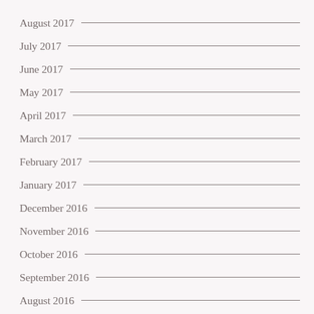August 2017
July 2017
June 2017
May 2017
April 2017
March 2017
February 2017
January 2017
December 2016
November 2016
October 2016
September 2016
August 2016
July 2016
June 2016